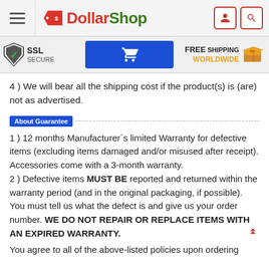[Figure (logo): DollarShop logo with hamburger menu, user and search icons in header]
[Figure (infographic): SSL Secure badge, blue cart button, and FREE SHIPPING WORLDWIDE with box icon]
4 ) We will bear all the shipping cost if the product(s) is (are) not as advertised.
About Guarantee
1 ) 12 months Manufacturer`s limited Warranty for defective items (excluding items damaged and/or misused after receipt). Accessories come with a 3-month warranty.
2 ) Defective items MUST BE reported and returned within the warranty period (and in the original packaging, if possible). You must tell us what the defect is and give us your order number. WE DO NOT REPAIR OR REPLACE ITEMS WITH AN EXPIRED WARRANTY.
You agree to all of the above-listed policies upon ordering